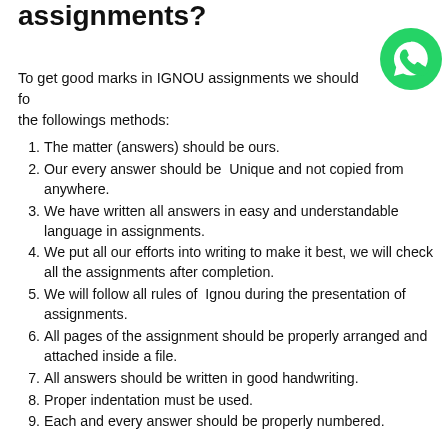assignments?
[Figure (logo): WhatsApp green circular logo icon in top right corner]
To get good marks in IGNOU assignments we should follow the followings methods:
The matter (answers) should be ours.
Our every answer should be Unique and not copied from anywhere.
We have written all answers in easy and understandable language in assignments.
We put all our efforts into writing to make it best, we will check all the assignments after completion.
We will follow all rules of Ignou during the presentation of assignments.
All pages of the assignment should be properly arranged and attached inside a file.
All answers should be written in good handwriting.
Proper indentation must be used.
Each and every answer should be properly numbered.